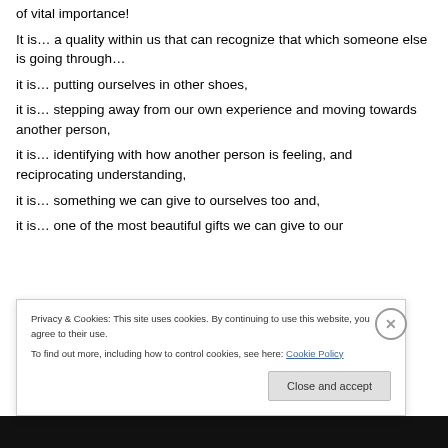of vital importance!
It is… a quality within us that can recognize that which someone else is going through…
it is… putting ourselves in other shoes,
it is… stepping away from our own experience and moving towards another person,
it is… identifying with how another person is feeling, and reciprocating understanding,
it is… something we can give to ourselves too and,
it is… one of the most beautiful gifts we can give to our
Privacy & Cookies: This site uses cookies. By continuing to use this website, you agree to their use. To find out more, including how to control cookies, see here: Cookie Policy
Close and accept